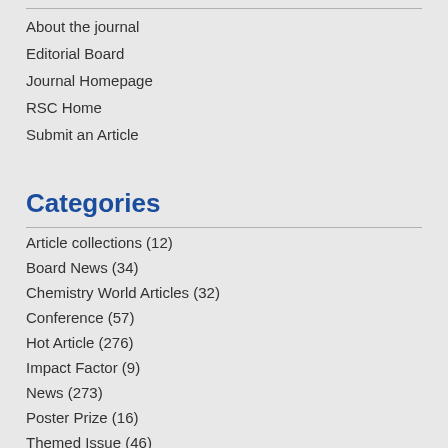About the journal
Editorial Board
Journal Homepage
RSC Home
Submit an Article
Categories
Article collections (12)
Board News (34)
Chemistry World Articles (32)
Conference (57)
Hot Article (276)
Impact Factor (9)
News (273)
Poster Prize (16)
Themed Issue (46)
Top 10 (41)
Uncategorized (21)
Web writers (50)